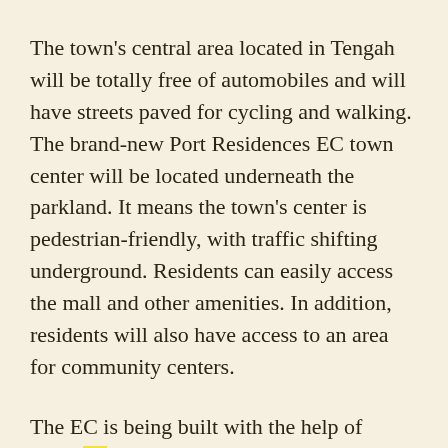The town's central area located in Tengah will be totally free of automobiles and will have streets paved for cycling and walking. The brand-new Port Residences EC town center will be located underneath the parkland. It means the town's center is pedestrian-friendly, with traffic shifting underground. Residents can easily access the mall and other amenities. In addition, residents will also have access to an area for community centers.
The EC is being built with the help of Housing Board planner Wu Sau Ling. The site was a brownfield and is planned for the future town-building project. The late his difficult to li...